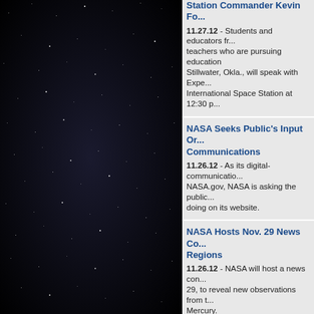[Figure (photo): Dark space/night sky background with scattered white star dots on the left panel]
Station Commander Kevin Fo... 11.27.12 - Students and educators from teachers who are pursuing education Stillwater, Okla., will speak with Expe... International Space Station at 12:30 p...
NASA Seeks Public's Input On... Communications
11.26.12 - As its digital-communicatio... NASA.gov, NASA is asking the public... doing on its website.
NASA Hosts Nov. 29 News Co... Regions
11.26.12 - NASA will host a news con... 29, to reveal new observations from t... Mercury.
NASA, Roscosmos Assign Ve... Station Mission
11.26.12 - NASA, the Russian Federa... international partners have selected t... mission aboard the International Spa...
NASA Selects Contract for Pr...